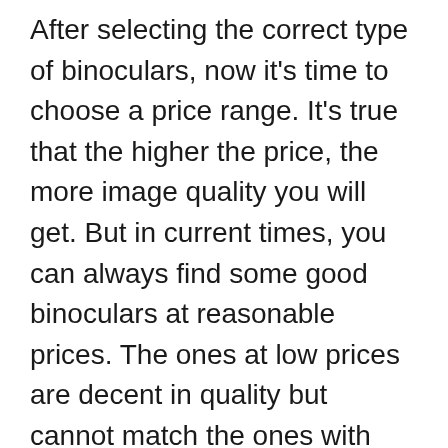After selecting the correct type of binoculars, now it's time to choose a price range. It's true that the higher the price, the more image quality you will get. But in current times, you can always find some good binoculars at reasonable prices. The ones at low prices are decent in quality but cannot match the ones with high magnification.
So you should select a binocular which qualifies for your need and be in your